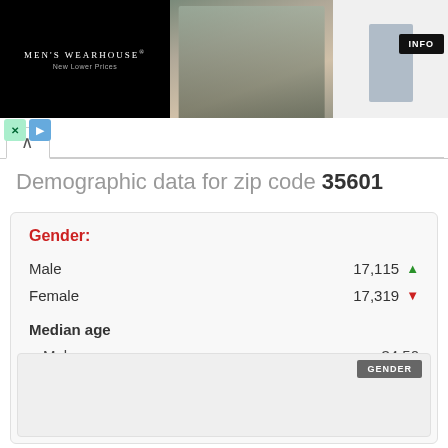[Figure (photo): Men's Wearhouse advertisement banner showing a couple in formal wear and a man in a suit, with an INFO button]
Demographic data for zip code 35601
Gender:
| Category | Value | Trend |
| --- | --- | --- |
| Male | 17,115 | ▲ |
| Female | 17,319 | ▼ |
Median age
| Category | Value |
| --- | --- |
| Male | 34.50 |
| Female | 38.20 |
[Figure (other): Gender chart area with GENDER button label]